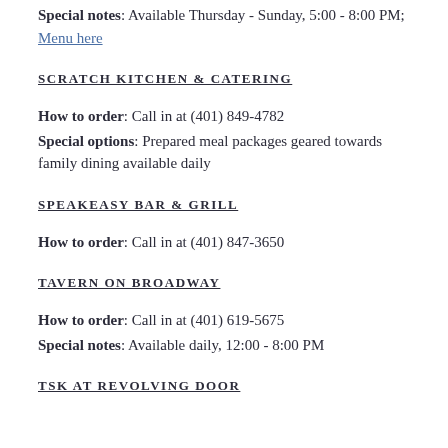Special notes: Available Thursday - Sunday, 5:00 - 8:00 PM; Menu here
SCRATCH KITCHEN & CATERING
How to order: Call in at (401) 849-4782
Special options: Prepared meal packages geared towards family dining available daily
SPEAKEASY BAR & GRILL
How to order: Call in at (401) 847-3650
TAVERN ON BROADWAY
How to order: Call in at (401) 619-5675
Special notes: Available daily, 12:00 - 8:00 PM
TSK AT REVOLVING DOOR